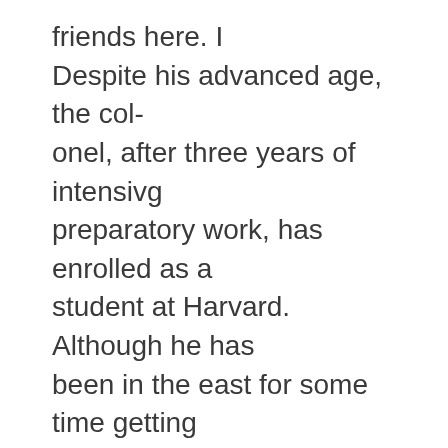friends here. I Despite his advanced age, the colonel, after three years of intensivg preparatory work, has enrolled as a student at Harvard. Although he has been in the east for some time getting
Former Premier May Form New Danish Cabinet
Railroad and Pullman tickets tq Columbus for the O. S. U. game will, go on sale at the Union at 10 o'clok this morning, when they will be sold